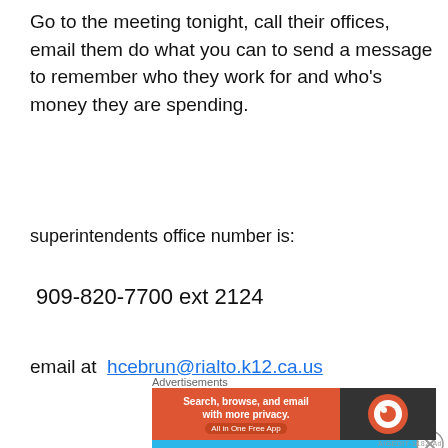Go to the meeting tonight, call their offices, email them do what you can to send a message to remember who they work for and who's money they are spending.
superintendents office number is:
909-820-7700 ext 2124
email at  hcebrun@rialto.k12.ca.us
Advertisements
[Figure (screenshot): DayOne app advertisement on blue background showing a phone mockup with the app open and text 'DAYONE Your Journal']
Advertisements
[Figure (screenshot): DuckDuckGo advertisement: 'Search, browse, and email with more privacy. All in One Free App' on orange and dark background]